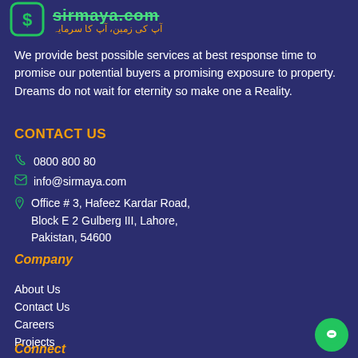[Figure (logo): Sirmaya.com logo with green dollar sign icon and Urdu tagline: آپ کی زمین، آپ کا سرمایہ]
We provide best possible services at best response time to promise our potential buyers a promising exposure to property. Dreams do not wait for eternity so make one a Reality.
CONTACT US
0800 800 80
info@sirmaya.com
Office # 3, Hafeez Kardar Road, Block E 2 Gulberg III, Lahore, Pakistan, 54600
Company
About Us
Contact Us
Careers
Projects
FAQs
Terms of Use
Connect